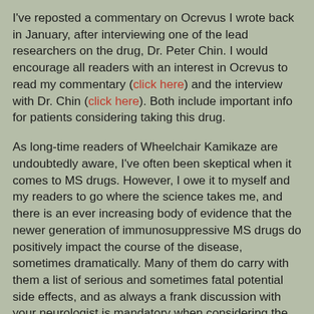I've reposted a commentary on Ocrevus I wrote back in January, after interviewing one of the lead researchers on the drug, Dr. Peter Chin. I would encourage all readers with an interest in Ocrevus to read my commentary (click here) and the interview with Dr. Chin (click here). Both include important info for patients considering taking this drug.
As long-time readers of Wheelchair Kamikaze are undoubtedly aware, I've often been skeptical when it comes to MS drugs. However, I owe it to myself and my readers to go where the science takes me, and there is an ever increasing body of evidence that the newer generation of immunosuppressive MS drugs do positively impact the course of the disease, sometimes dramatically. Many of them do carry with them a list of serious and sometimes fatal potential side effects, and as always a frank discussion with your neurologist is mandatory when considering the risk/reward ratio before beginning any drug treatment. Let's hope that with time Ocrevus shows itself to be even more effective than was demonstrated in its clinical trials, and that its safety profile proves robust.